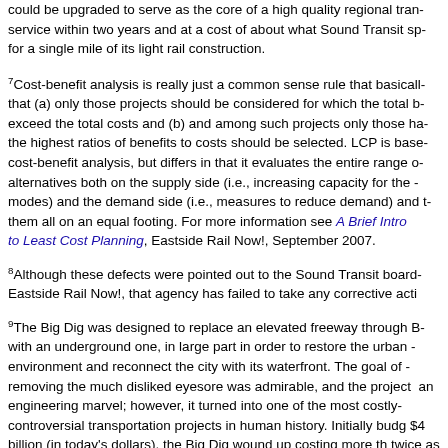could be upgraded to serve as the core of a high quality regional transit service within two years and at a cost of about what Sound Transit spends for a single mile of its light rail construction.
7Cost-benefit analysis is really just a common sense rule that basically says that (a) only those projects should be considered for which the total benefits exceed the total costs and (b) and among such projects only those having the highest ratios of benefits to costs should be selected. LCP is based on cost-benefit analysis, but differs in that it evaluates the entire range of alternatives both on the supply side (i.e., increasing capacity for the various modes) and the demand side (i.e., measures to reduce demand) and then ranks them all on an equal footing. For more information see A Brief Introduction to Least Cost Planning, Eastside Rail Now!, September 2007.
8Although these defects were pointed out to the Sound Transit board by Eastside Rail Now!, that agency has failed to take any corrective action.
9The Big Dig was designed to replace an elevated freeway through Boston with an underground one, in large part in order to restore the urban environment and reconnect the city with its waterfront. The goal of removing the much disliked eyesore was admirable, and the project is an engineering marvel; however, it turned into one of the most costly and controversial transportation projects in human history. Initially budgeted at $4 billion (in today's dollars), the Big Dig wound up costing more than twice as much as the Panama Canal (also in today's dollars), according to the article $14.6 billion later Boston's Big Dig opens.